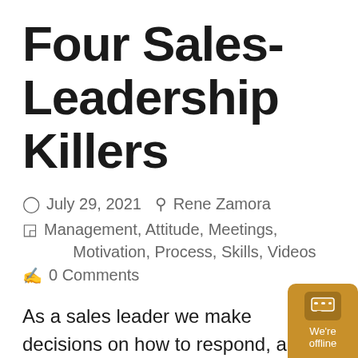Four Sales-Leadership Killers
July 29, 2021  Rene Zamora
Management, Attitude, Meetings, Motivation, Process, Skills, Videos
0 Comments
As a sales leader we make decisions on how to respond, act and beha... based on what we see or perceiv...